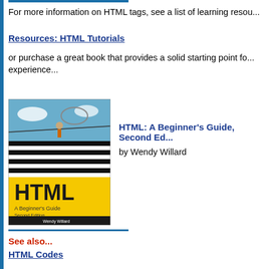For more information on HTML tags, see a list of learning resou...
Resources: HTML Tutorials
or purchase a great book that provides a solid starting point for experience...
[Figure (photo): Book cover: HTML: A Beginner's Guide, Second Edition]
HTML: A Beginner's Guide, Second Ed...
by Wendy Willard
See also...
HTML Codes
The basics of building Web pages, popular HTML editors.
HTML Validators
Professional-level tools to help you make your Web pages fault...
[Figure (photo): Advertisement banner: Build a profita... Get Started with...]